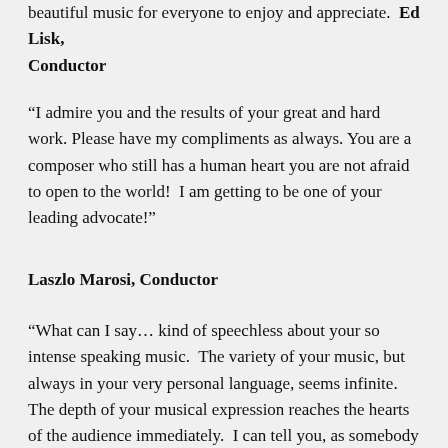beautiful music for everyone to enjoy and appreciate.  Ed Lisk, Conductor
“I admire you and the results of your great and hard work. Please have my compliments as always. You are a composer who still has a human heart you are not afraid to open to the world!  I am getting to be one of your leading advocate!”
Laszlo Marosi, Conductor
“What can I say… kind of speechless about your so intense speaking music. The variety of your music, but always in your very personal language, seems infinite. The depth of your musical expression reaches the hearts of the audience immediately. I can tell you, as somebody who performed your music for years. Congrats to the composer, the band, the conductor und the producer! Another world-connecting event,